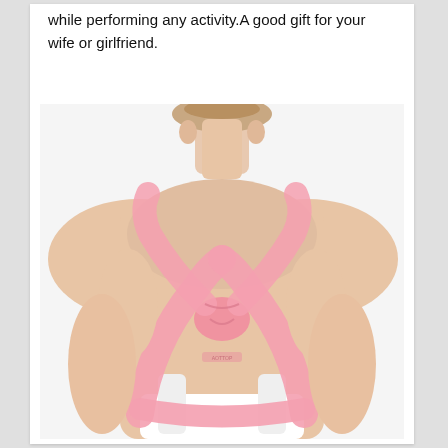while performing any activity.A good gift for your wife or girlfriend.
[Figure (photo): Back view of a woman wearing a pink posture corrector brace over a white top. The brace has cross straps over the upper back and shoulders.]